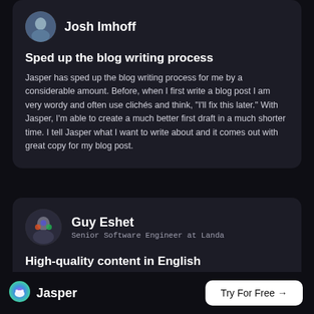[Figure (photo): Avatar photo of Josh Imhoff, a man in a blue shirt]
Josh Imhoff
Sped up the blog writing process
Jasper has sped up the blog writing process for me by a considerable amount. Before, when I first write a blog post I am very wordy and often use clichés and think, "I'll fix this later." With Jasper, I'm able to create a much better first draft in a much shorter time. I tell Jasper what I want to write about and it comes out with great copy for my blog post.
[Figure (photo): Avatar photo of Guy Eshet, a man in a colorful shirt]
Guy Eshet
Senior Software Engineer at Landa
High-quality content in English
[Figure (logo): Jasper logo — colorful circle icon with face]
Jasper
Try For Free →